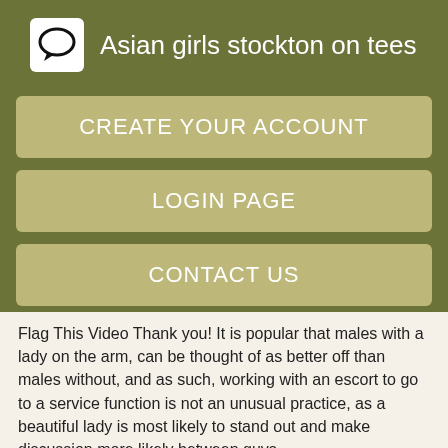Asian girls stockton on tees
CREATE YOUR ACCOUNT
LOGIN PAGE
CONTACT US
Flag This Video Thank you! It is popular that males with a lady on the arm, can be thought of as better off than males without, and as such, working with an escort to go to a service function is not an unusual practice, as a beautiful lady is most likely to stand out and make discussion more likely between guys.
Drama Free. Appointments must take place with respect and hygiene is of course essential. Emma for your pleasure Rub ratings escorts Kenner I receive you from Monday to Sunday for